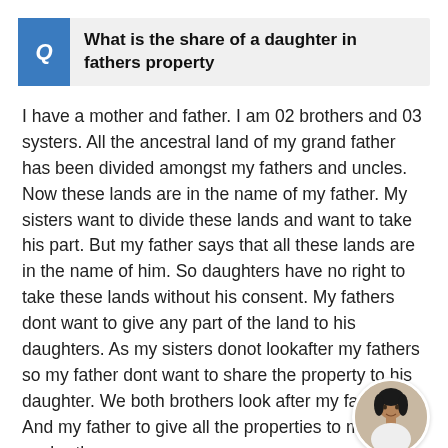What is the share of a daughter in fathers property
I have a mother and father. I am 02 brothers and 03 systers. All the ancestral land of my grand father has been divided amongst my fathers and uncles. Now these lands are in the name of my father. My sisters want to divide these lands and want to take his part. But my father says that all these lands are in the name of him. So daughters have no right to take these lands without his consent. My fathers dont want to give any part of the land to his daughters. As my sisters donot lookafter my fathers so my father dont want to share the property to his daughter. We both brothers look after my father. And my father to give all the properties to me and my brother.
[Figure (photo): Circular avatar photo of a woman with dark hair, wearing a white top, positioned at the bottom right corner]